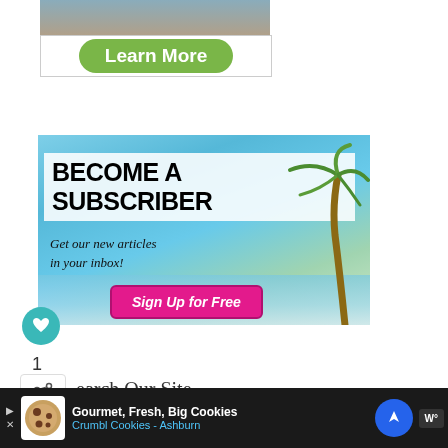[Figure (screenshot): Partial top ad with Learn More green button on white background]
[Figure (screenshot): Become a Subscriber banner with beach/palm tree background, hot pink Sign Up for Free button]
1
earch Our Site
[Figure (screenshot): Bottom ad bar: Gourmet, Fresh, Big Cookies - Crumbl Cookies - Ashburn with navigation arrow icon and weather widget]